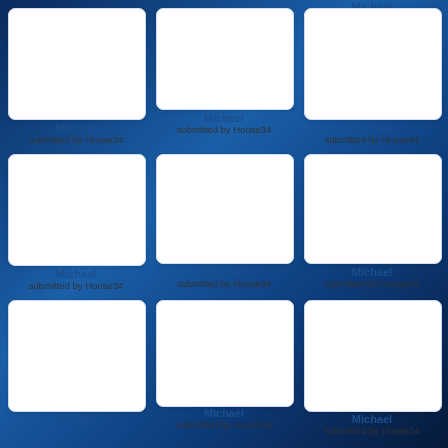Michael
submitted by House34
[Figure (photo): Blank white card placeholder image]
Michael
submitted by House34
[Figure (photo): Blank white card placeholder image]
Michael
submitted by House34
[Figure (photo): Blank white card placeholder image]
Michael
submitted by House34
[Figure (photo): Blank white card placeholder image]
Michael
submitted by House34
[Figure (photo): Blank white card placeholder image]
Michael
submitted by House34
[Figure (photo): Blank white card placeholder image]
Michael
submitted by House34
[Figure (photo): Blank white card placeholder image]
Michael
submitted by House34
[Figure (photo): Blank white card placeholder image]
Michael
submitted by House34